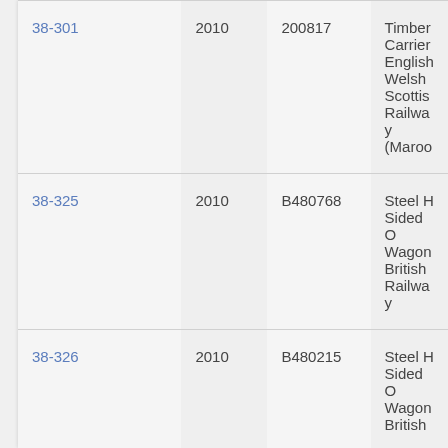| 38-301 | 2010 | 200817 | Timber Carrier English Welsh Scottish Railway (Maroo… |
| 38-325 | 2010 | B480768 | Steel H Sided O Wagon British Railway… |
| 38-326 | 2010 | B480215 | Steel H Sided O Wagon British… |